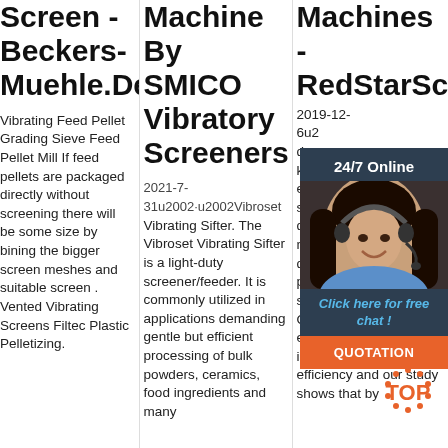Screen - Beckers-Muehle.De
Vibrating Feed Pellet Grading Sieve Feed Pellet Mill If feed pellets are packaged directly without screening there will be some size by bining the bigger screen meshes and suitable screen . Vented Vibrating Screens Filtec Plastic Pelletizing.
Machine By SMICO Vibratory Screeners
2021-7-31u2002·u2002Vibroset Vibrating Sifter. The Vibroset Vibrating Sifter is a light-duty screener/feeder. It is commonly utilized in applications demanding gentle but efficient processing of bulk powders, ceramics, food ingredients and many
Machines - RedStarScr
2019-12-6u2... drum... know... effic... sepa... dow... mov... drum... prob... sieve holes tend to clog. Our company put enormous effort to improve this lower efficiency and our study shows that by
[Figure (photo): Chat widget overlay with woman wearing headset, dark blue background header '24/7 Online', blue italic text 'Click here for free chat!', orange QUOTATION button]
[Figure (logo): TOP logo watermark in orange with gear/dots pattern]